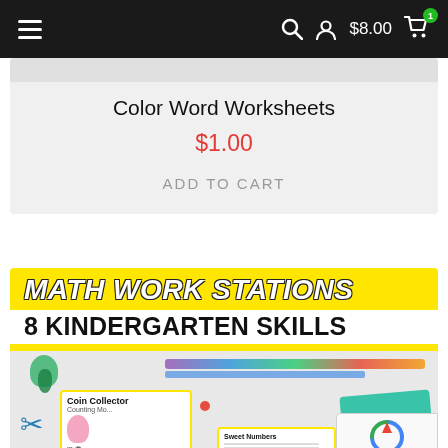≡  🔍  👤  $8.00  🛒 (1)
Color Word Worksheets
$1.00
ADD TO CART
[Figure (photo): Math Work Stations - 8 Kindergarten Skills educational product thumbnail showing colorful school supplies, worksheets including Coin Collector Counting activity and Sweet Numbers worksheet]
Privacy · Terms